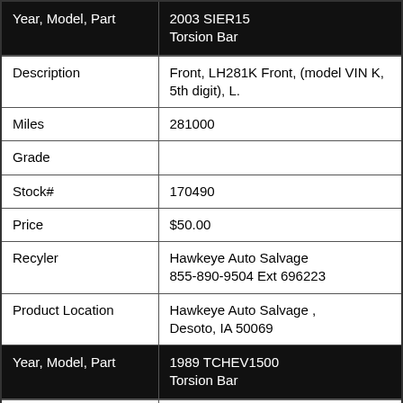| Year, Model, Part | 2003 SIER15 Torsion Bar |
| --- | --- |
| Description | Front, LH281K Front, (model VIN K, 5th digit), L. |
| Miles | 281000 |
| Grade |  |
| Stock# | 170490 |
| Price | $50.00 |
| Recyler | Hawkeye Auto Salvage
855-890-9504 Ext 696223 |
| Product Location | Hawkeye Auto Salvage , Desoto, IA 50069 |
| Year, Model, Part | 1989 TCHEV1500 Torsion Bar |
| Description | SIL,5.7,ATOD,Factory Front, (model VIN K, 5th digit), L. |
| Miles | 314000 |
| Grade |  |